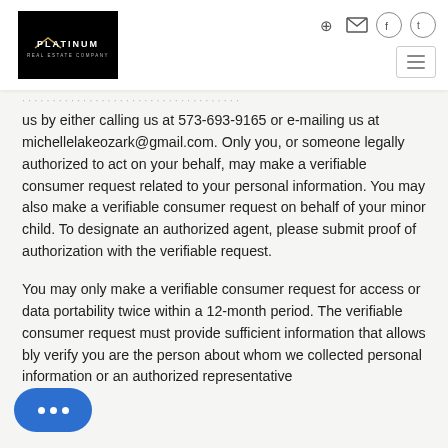Platinum Real Estate Company header with navigation icons
us by either calling us at 573-693-9165 or e-mailing us at michellelakeozark@gmail.com. Only you, or someone legally authorized to act on your behalf, may make a verifiable consumer request related to your personal information. You may also make a verifiable consumer request on behalf of your minor child. To designate an authorized agent, please submit proof of authorization with the verifiable request.
You may only make a verifiable consumer request for access or data portability twice within a 12-month period. The verifiable consumer request must provide sufficient information that allows [us to reasonably] verify you are the person about whom we collected personal information or an authorized representative